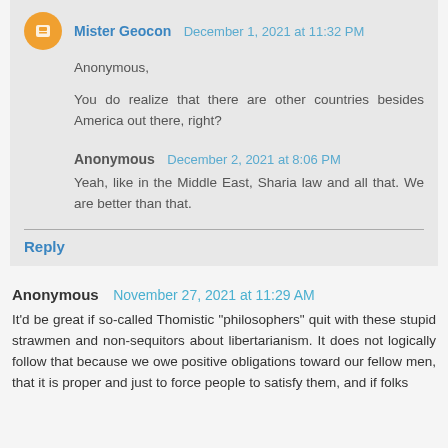Mister Geocon  December 1, 2021 at 11:32 PM
Anonymous,

You do realize that there are other countries besides America out there, right?
Anonymous  December 2, 2021 at 8:06 PM
Yeah, like in the Middle East, Sharia law and all that. We are better than that.
Reply
Anonymous  November 27, 2021 at 11:29 AM
It'd be great if so-called Thomistic "philosophers" quit with these stupid strawmen and non-sequitors about libertarianism. It does not logically follow that because we owe positive obligations toward our fellow men, that it is proper and just to force people to satisfy them, and if folks